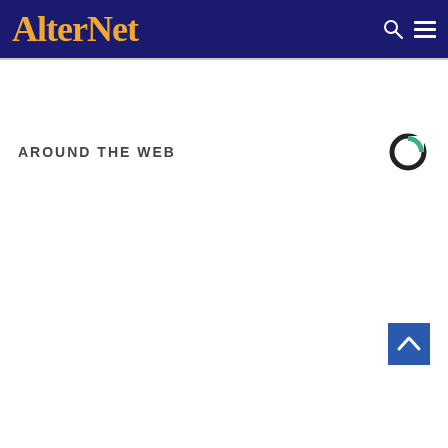AlterNet
AROUND THE WEB
[Figure (logo): Civic Science logo — partial circle with green segment]
[Figure (other): Scroll to top button — dark blue square with upward chevron arrow]